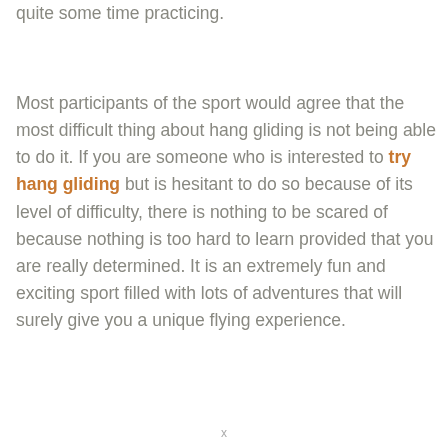quite some time practicing.
Most participants of the sport would agree that the most difficult thing about hang gliding is not being able to do it. If you are someone who is interested to try hang gliding but is hesitant to do so because of its level of difficulty, there is nothing to be scared of because nothing is too hard to learn provided that you are really determined. It is an extremely fun and exciting sport filled with lots of adventures that will surely give you a unique flying experience.
x